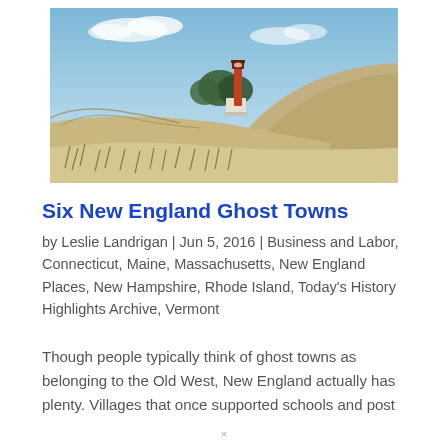[Figure (photo): Coastal sand dunes with dry beach grass in the foreground and a red lighthouse tower visible behind trees on a hill in the background, under a partly cloudy blue sky.]
Six New England Ghost Towns
by Leslie Landrigan  |  Jun 5, 2016  |  Business and Labor, Connecticut, Maine, Massachusetts, New England Places, New Hampshire, Rhode Island, Today's History Highlights Archive, Vermont
Though people typically think of ghost towns as belonging to the Old West, New England actually has plenty. Villages that once supported schools and post
×